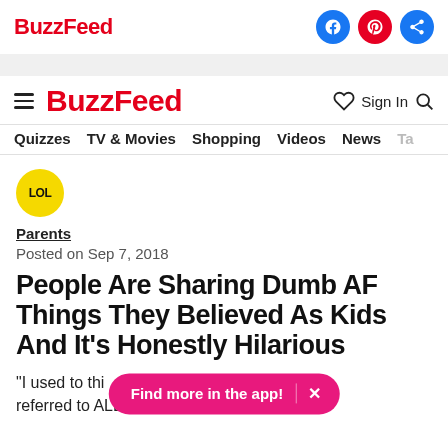BuzzFeed
[Figure (logo): BuzzFeed logo in red with social share icons (Facebook, Pinterest, Share) in circles on the right]
Quizzes   TV & Movies   Shopping   Videos   News   Ta
[Figure (illustration): Yellow circular LOL badge]
Parents
Posted on Sep 7, 2018
People Are Sharing Dumb AF Things They Believed As Kids And It's Honestly Hilarious
"I used to thin  Find more in the app!  X  driving' referred to ALL beverages.